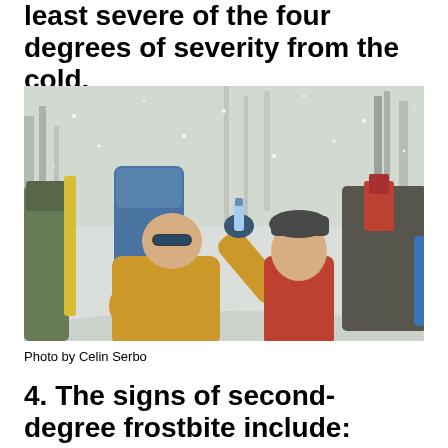least severe of the four degrees of severity from the cold.
[Figure (photo): Group of hikers with backpacks in a snowy winter forest during a snowstorm. One person in a yellow jacket is drinking from a bottle, others in red and dark winter gear around them.]
Photo by Celin Serbo
4. The signs of second-degree frostbite include: